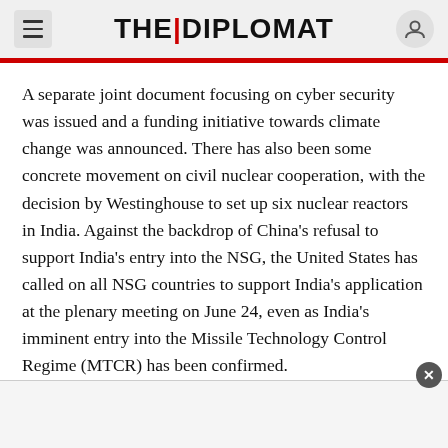THE DIPLOMAT
A separate joint document focusing on cyber security was issued and a funding initiative towards climate change was announced. There has also been some concrete movement on civil nuclear cooperation, with the decision by Westinghouse to set up six nuclear reactors in India. Against the backdrop of China's refusal to support India's entry into the NSG, the United States has called on all NSG countries to support India's application at the plenary meeting on June 24, even as India's imminent entry into the Missile Technology Control Regime (MTCR) has been confirmed.